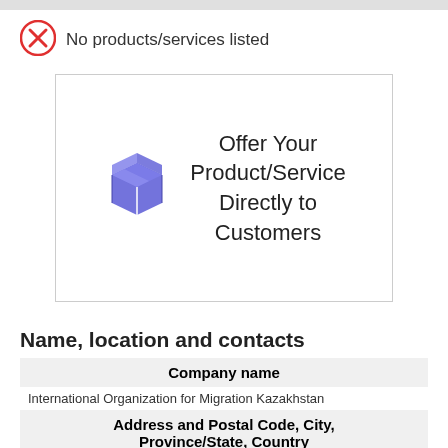No products/services listed
[Figure (illustration): Box icon with text: Offer Your Product/Service Directly to Customers]
Name, location and contacts
| Company name |
| --- |
| International Organization for Migration Kazakhstan |
| Address and Postal Code, City, Province/State, Country |
| 14 Mambetov Street, 010000, Nursultan, Kazakhstan |
| Office Phone |
CONTACT US